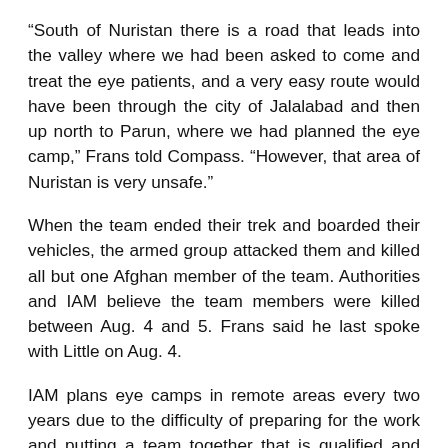“South of Nuristan there is a road that leads into the valley where we had been asked to come and treat the eye patients, and a very easy route would have been through the city of Jalalabad and then up north to Parun, where we had planned the eye camp,” Frans told Compass. “However, that area of Nuristan is very unsafe.”
When the team ended their trek and boarded their vehicles, the armed group attacked them and killed all but one Afghan member of the team. Authorities and IAM believe the team members were killed between Aug. 4 and 5. Frans said he last spoke with Little on Aug. 4.
IAM plans eye camps in remote areas every two years due to the difficulty of preparing for the work and putting a team together that is qualified and can endure the harsh travel conditions, he said.